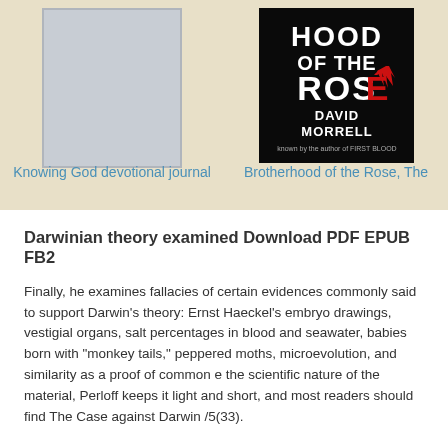[Figure (photo): Blank book cover placeholder (light gray rectangle with border) for 'Knowing God devotional journal']
Knowing God devotional journal
[Figure (photo): Book cover for 'Brotherhood of the Rose, The' by David Morrell - dark/black background with large white and red text reading 'HOOD OF THE ROSE' and author name 'DAVID MORRELL']
Brotherhood of the Rose, The
Darwinian theory examined Download PDF EPUB FB2
Finally, he examines fallacies of certain evidences commonly said to support Darwin's theory: Ernst Haeckel's embryo drawings, vestigial organs, salt percentages in blood and seawater, babies born with "monkey tails," peppered moths, microevolution, and similarity as a proof of common e the scientific nature of the material, Perloff keeps it light and short, and most readers should find The Case against Darwin /5(33).